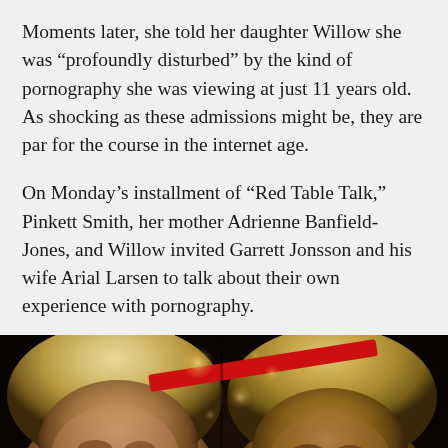Moments later, she told her daughter Willow she was “profoundly disturbed” by the kind of pornography she was viewing at just 11 years old. As shocking as these admissions might be, they are par for the course in the internet age.
On Monday’s installment of “Red Table Talk,” Pinkett Smith, her mother Adrienne Banfield-Jones, and Willow invited Garrett Jonsson and his wife Arial Larsen to talk about their own experience with pornography.
[Figure (photo): Two women with short blonde/golden hair seated side by side at what appears to be the Red Table Talk set, with a red band/stripe visible in the background and bokeh lighting effects.]